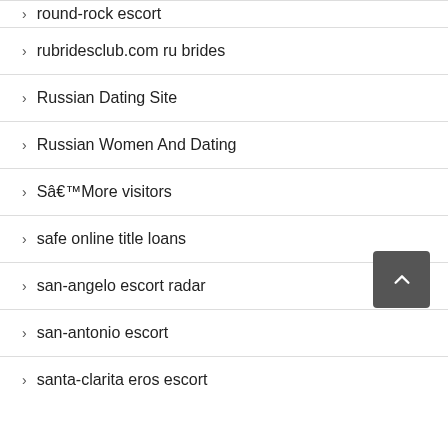round-rock escort
rubridesclub.com ru brides
Russian Dating Site
Russian Women And Dating
Sâ€™More visitors
safe online title loans
san-angelo escort radar
san-antonio escort
santa-clarita eros escort